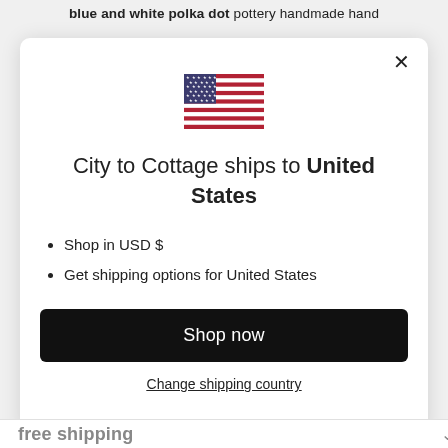blue and white polka dot pottery handmade hand
[Figure (illustration): US flag emoji/icon, rectangular, showing stars and stripes]
City to Cottage ships to United States
Shop in USD $
Get shipping options for United States
Shop now
Change shipping country
free shipping